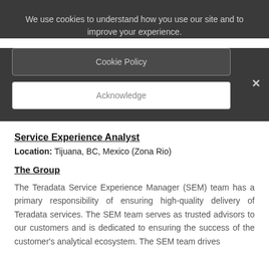We use cookies to understand how you use our site and to improve your experience.
Cookie Policy
Acknowledge
Service Experience Analyst
Location: Tijuana, BC, Mexico (Zona Rio)
The Group
The Teradata Service Experience Manager (SEM) team has a primary responsibility of ensuring high-quality delivery of Teradata services. The SEM team serves as trusted advisors to our customers and is dedicated to ensuring the success of the customer's analytical ecosystem. The SEM team drives